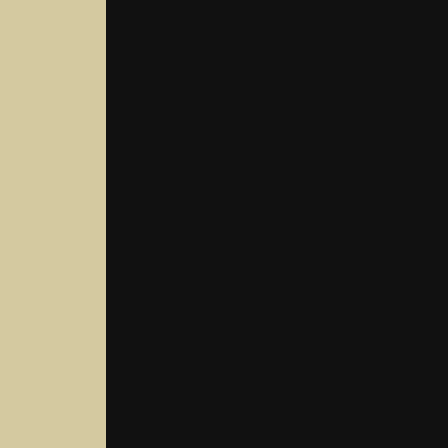#LSAUTO – AUTOMOTIVE / MOBIL…
WITTS is also available to deliver the fo…
These gifts are prototypes, hand-made a… Specifically, "why do we need to mass p… FUNDS needed, start with a consultation…
These systems require extensive work to… location, power levels, volt-ampere requi…
These are advanced systems requiring sig… donate toward a consultation and at that t… costs vary based on your location and yo… to meet your car/truck/pickup or mobile p…
Using the ultimate in green-technologies… carbon footprint. Designs are based on i… water, quantum energy, and many other p…
$300 Donation. One Hour Initial Cons… projects.)
[Figure (other): Gold/bronze oval Donate button]